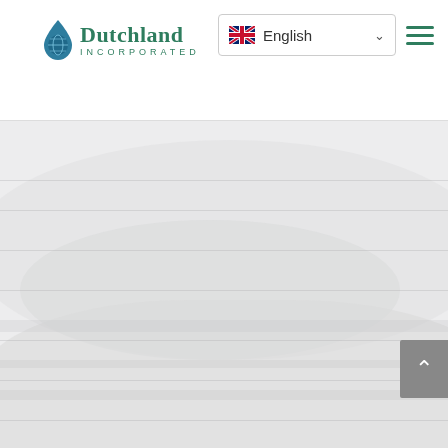[Figure (logo): Dutchland Incorporated logo — water drop icon with globe and green text reading 'Dutchland INCORPORATED']
[Figure (screenshot): English language selector dropdown with UK flag and chevron arrow]
[Figure (other): Hamburger menu icon with three green horizontal lines]
[Figure (photo): Full-width light gray washed-out background image of a landscape or water treatment facility, very faint and almost white]